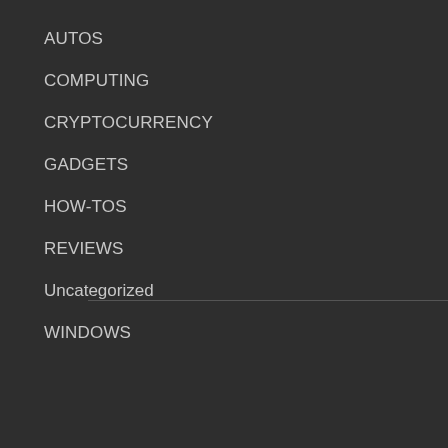AUTOS
COMPUTING
CRYPTOCURRENCY
GADGETS
HOW-TOS
REVIEWS
Uncategorized
WINDOWS